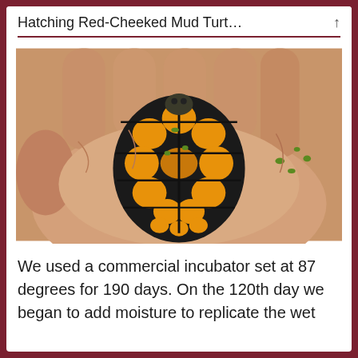Hatching Red-Cheeked Mud Turt…
[Figure (photo): A small baby turtle with a bright orange and black patterned shell held in the palm of a hand, with small green plant bits visible on the hand and shell.]
We used a commercial incubator set at 87 degrees for 190 days. On the 120th day we began to add moisture to replicate the wet